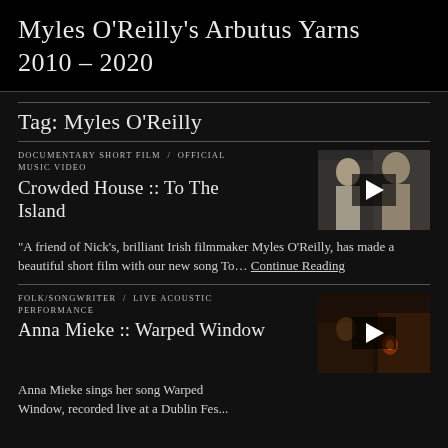Myles O'Reilly's Arbutus Yarns 2010 – 2020
Tag: Myles O'Reilly
DOCUMENTARY SHORT FILM / OFFICIAL MUSIC VIDEO
Crowded House :: To The Island
[Figure (photo): Video thumbnail showing two people, with a play button overlay]
"A friend of Nick's, brilliant Irish filmmaker Myles O'Reilly, has made a beautiful short film with our new song To… Continue Reading
FOLK/SONGWRITER / LIVE ACOUSTIC PERFORMANCE
Anna Mieke :: Warped Window
[Figure (photo): Video thumbnail showing a dark scene with candlelight, with a play button overlay]
Anna Mieke sings her song Warped Window, recorded live at a Dublin Festival, beautifully...